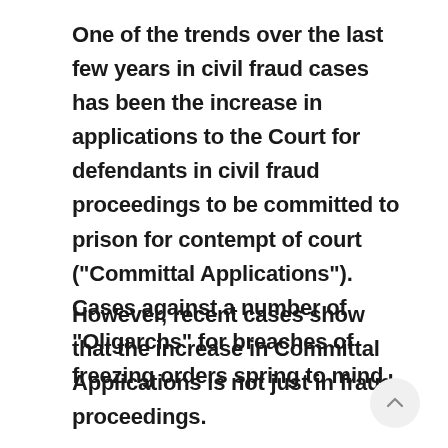One of the trends over the last few years in civil fraud cases has been the increase in applications to the Court for defendants in civil fraud proceedings to be committed to prison for contempt of court ("Committal Applications"). Cases against a number of "Oligarchs" for breaches of freezing orders spring to mind.
However, recent cases show that the increase in Committal Applications is not just in fraud proceedings.